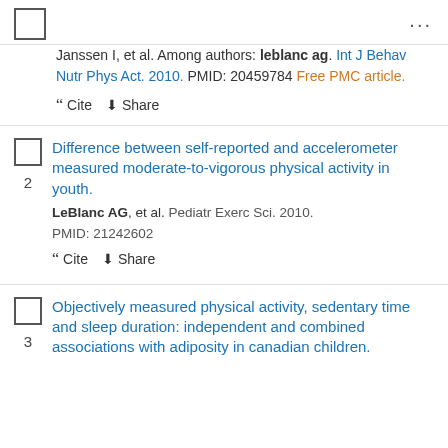Janssen I, et al. Among authors: leblanc ag. Int J Behav Nutr Phys Act. 2010. PMID: 20459784 Free PMC article.
Cite Share
Difference between self-reported and accelerometer measured moderate-to-vigorous physical activity in youth.
LeBlanc AG, et al. Pediatr Exerc Sci. 2010. PMID: 21242602
Cite Share
Objectively measured physical activity, sedentary time and sleep duration: independent and combined associations with adiposity in canadian children.